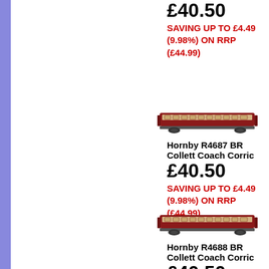£40.50
SAVING UP TO £4.49 (9.98%) ON RRP (£44.99)
[Figure (illustration): Model railway coach - Hornby BR Collett Coach, maroon/cream livery, side view]
Hornby R4687 BR Collett Coach Corric
£40.50
SAVING UP TO £4.49 (9.98%) ON RRP (£44.99)
[Figure (illustration): Model railway coach - Hornby BR Collett Coach, maroon/cream livery, side view]
Hornby R4688 BR Collett Coach Corric
£40.50
SAVING UP TO £4.49 (9.98%) ON RRP (£44.99)